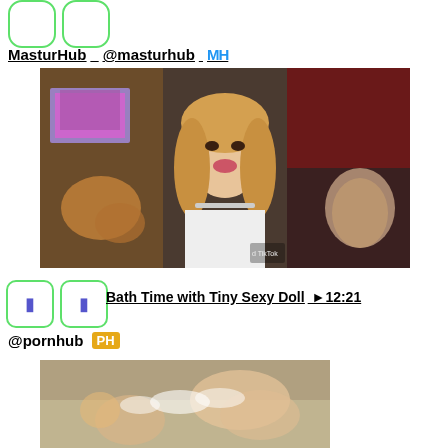[Figure (other): Two rounded rectangle icon placeholders with green borders at top left]
MasturHub  @masturhub MH
[Figure (photo): Three-panel collage image: left panel shows a screen with adult content, center panel shows a blonde woman making a kissy face (TikTok watermark visible), right panel shows adult content on dark red fabric]
[Figure (other): Two rounded rectangle icon placeholders with green borders and purple bookmark icons]
Bath Time with Tiny Sexy Doll ▶12:21
@pornhub PH
[Figure (photo): Bath scene thumbnail showing adult content in a bathtub with bubbly water]